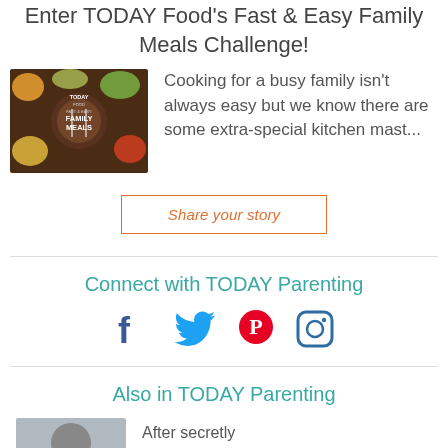Enter TODAY Food's Fast & Easy Family Meals Challenge!
[Figure (photo): TODAY Food Fast & Easy Family Meals promotional image with food dishes on a dark background]
Cooking for a busy family isn't always easy but we know there are some extra-special kitchen mast...
Share your story
Connect with TODAY Parenting
[Figure (infographic): Social media icons: Facebook, Twitter, Pinterest, Instagram]
Also in TODAY Parenting
[Figure (photo): Thumbnail image for related article]
After secretly